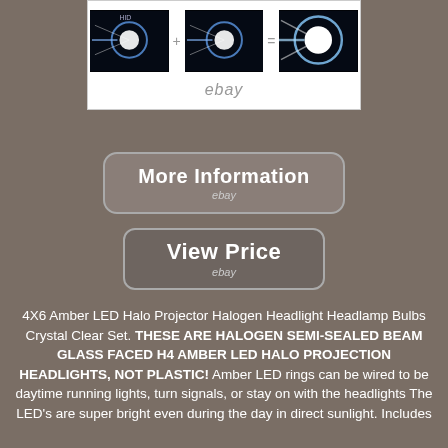[Figure (photo): Product listing image showing three headlight beam photos on white background with eBay watermark]
[Figure (screenshot): More Information button with eBay branding]
[Figure (screenshot): View Price button with eBay branding]
4X6 Amber LED Halo Projector Halogen Headlight Headlamp Bulbs Crystal Clear Set. THESE ARE HALOGEN SEMI-SEALED BEAM GLASS FACED H4 AMBER LED HALO PROJECTION HEADLIGHTS, NOT PLASTIC! Amber LED rings can be wired to be daytime running lights, turn signals, or stay on with the headlights The LED's are super bright even during the day in direct sunlight. Includes